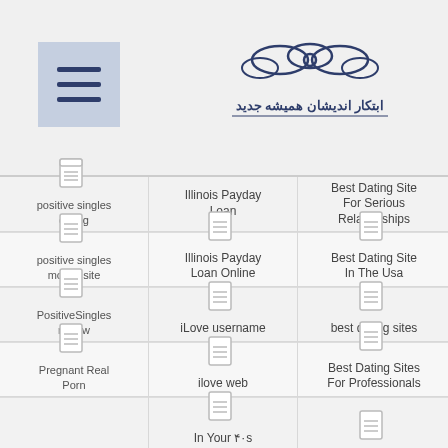[Figure (logo): Persian/Arabic text logo with decorative ribbon illustration in dark blue]
| Col1 | Col2 | Col3 |
| --- | --- | --- |
| positive singles dating | Illinois Payday Loan | Best Dating Site For Serious Relationships |
| positive singles dating [icon] | Illinois Payday Loan Online | Best Dating Site In The Usa |
| positive singles mobile site | iLove username | best dating sites |
| PositiveSingles review | ilove web | Best Dating Sites For Professionals |
| Pregnant Real Porn | In Your 40s |  |